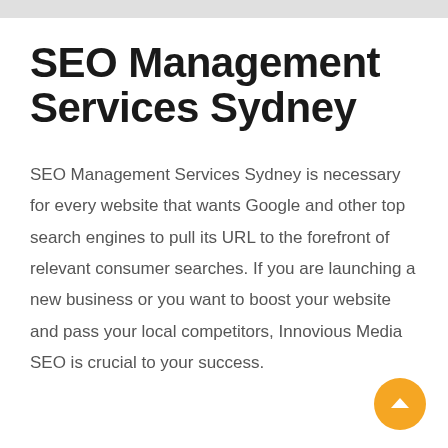SEO Management Services Sydney
SEO Management Services Sydney is necessary for every website that wants Google and other top search engines to pull its URL to the forefront of relevant consumer searches. If you are launching a new business or you want to boost your website and pass your local competitors, Innovious Media SEO is crucial to your success.